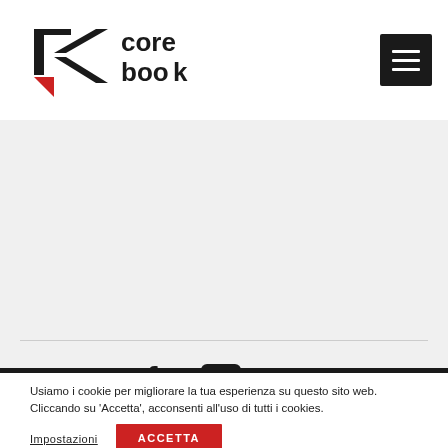[Figure (logo): Corebook logo with stylized K arrow shape in dark and red, with 'core book' text in bold black]
[Figure (other): Hamburger menu icon — three white horizontal lines on dark background square]
[Figure (other): Social media icons: Facebook (f), YouTube (play button), LinkedIn (in)]
Usiamo i cookie per migliorare la tua esperienza su questo sito web. Cliccando su 'Accetta', acconsenti all'uso di tutti i cookies.
Impostazioni
ACCETTA